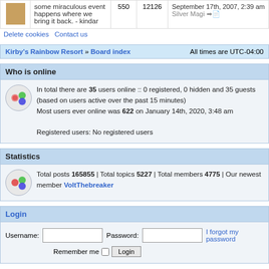| avatar | text | 550 | 12126 | September 17th, 2007, 2:39 am Silver Magi |
| --- | --- | --- | --- | --- |
| [avatar] | some miraculous event happens where we bring it back. - kindar | 550 | 12126 | September 17th, 2007, 2:39 am
Silver Magi |
Delete cookies   Contact us
Kirby's Rainbow Resort » Board index    All times are UTC-04:00
Who is online
In total there are 35 users online :: 0 registered, 0 hidden and 35 guests (based on users active over the past 15 minutes)
Most users ever online was 622 on January 14th, 2020, 3:48 am

Registered users: No registered users
Statistics
Total posts 165855 | Total topics 5227 | Total members 4775 | Our newest member VoltThebreaker
Login
Username: [input]  Password: [input]  I forgot my password
Remember me [checkbox] Login
Unread posts   No unread posts   Forum locked
Powered by phpBB® Forum Software © phpBB Limited
[ GZIP: Off | Load: 2.4 ]